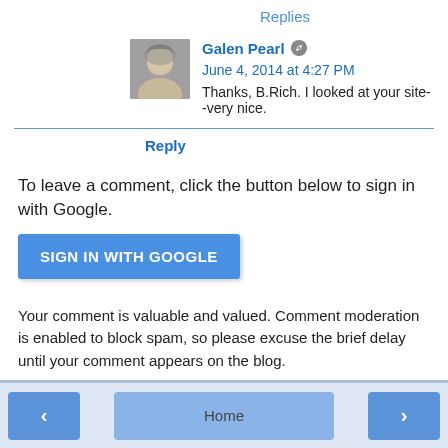Replies
Galen Pearl  June 4, 2014 at 4:27 PM
Thanks, B.Rich. I looked at your site--very nice.
Reply
To leave a comment, click the button below to sign in with Google.
SIGN IN WITH GOOGLE
Your comment is valuable and valued. Comment moderation is enabled to block spam, so please excuse the brief delay until your comment appears on the blog.
‹  Home  ›